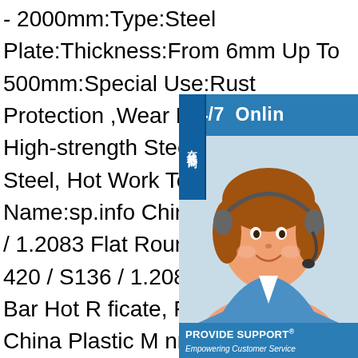- 2000mm:Type:Steel Plate:Thickness:From 6mm Up To 500mm:Special Use:Rust Protection ,Wear Resistant Steel, High-strength Steel Plate, Mould Steel, Hot Work Tool Steel:Product Name:sp.info China Annealed Steel SS420 / S136 / 1.2083 Flat Round Bar China Annealed Steel SS420 / S136 / 1.2083 Flat Round Bar Hot Rolled SGS Certificate, Find details about China Plastic Mould Steel, Annealed Steel SS420 / S136 / 1.2083 Flat Round Bar Hot Rolled SGS Certificate - Guangzhou Changyuan Mechanical Co., LTD.sp.info Precise 1.2083 mould steel, Shaping Steel Product Shaping Steel 1.2083 Mould Round Bar Stainless Steel Round Bar S136 / 1.2083 / 420ss Mould Steel Bar. $420.00-$560.00 / Ton. 1.0 Tons alloy mold steel 1.2083&718h s136 core and cavity/tungsten carbide mold core. $10.00 / Piece. 1 Piece Plastic Mould Stainless steel 420 S136 DIN 1.2083 4Cr13 round bar flat bar alloy steel tool ste
[Figure (illustration): Customer service chat widget with '24/7 Online' header, photo of woman with headset, 'PROVIDE SUPPORT - Empowering Customer Service' branding, and 'online live' button. Side label in Chinese characters '在线咨询'.]